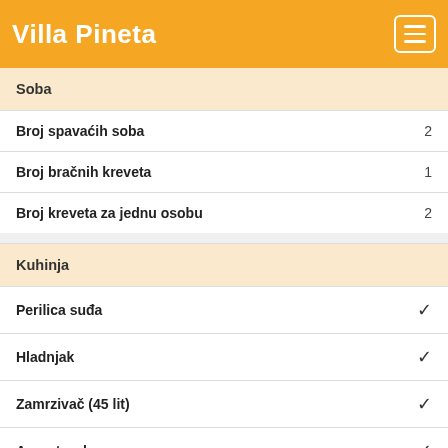Villa Pineta
Soba
|  |  |
| --- | --- |
| Broj spavaćih soba | 2 |
| Broj bračnih kreveta | 1 |
| Broj kreveta za jednu osobu | 2 |
Kuhinja
|  |  |
| --- | --- |
| Perilica suđa | ✓ |
| Hladnjak | ✓ |
| Zamrzivač (45 lit) | ✓ |
| Aparat za kavu | ✓ |
| Pećnica | ✓ |